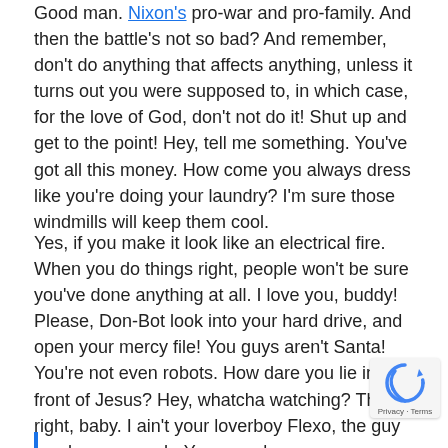Good man. Nixon's pro-war and pro-family. And then the battle's not so bad? And remember, don't do anything that affects anything, unless it turns out you were supposed to, in which case, for the love of God, don't not do it! Shut up and get to the point! Hey, tell me something. You've got all this money. How come you always dress like you're doing your laundry? I'm sure those windmills will keep them cool.
Yes, if you make it look like an electrical fire. When you do things right, people won't be sure you've done anything at all. I love you, buddy! Please, Don-Bot look into your hard drive, and open your mercy file! You guys aren't Santa! You're not even robots. How dare you lie in front of Jesus? Hey, whatcha watching? That's right, baby. I ain't your loverboy Flexo, the guy you love so much. You even love anyone pretending to be him!